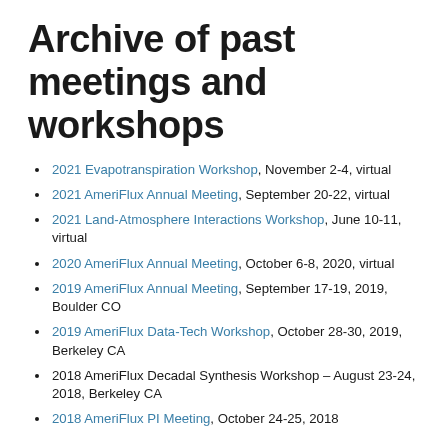Archive of past meetings and workshops
2021 Evapotranspiration Workshop, November 2-4, virtual
2021 AmeriFlux Annual Meeting, September 20-22, virtual
2021 Land-Atmosphere Interactions Workshop, June 10-11, virtual
2020 AmeriFlux Annual Meeting, October 6-8, 2020, virtual
2019 AmeriFlux Annual Meeting, September 17-19, 2019, Boulder CO
2019 AmeriFlux Data-Tech Workshop, October 28-30, 2019, Berkeley CA
2018 AmeriFlux Decadal Synthesis Workshop – August 23-24, 2018, Berkeley CA
2018 AmeriFlux PI Meeting, October 24-25, 2018